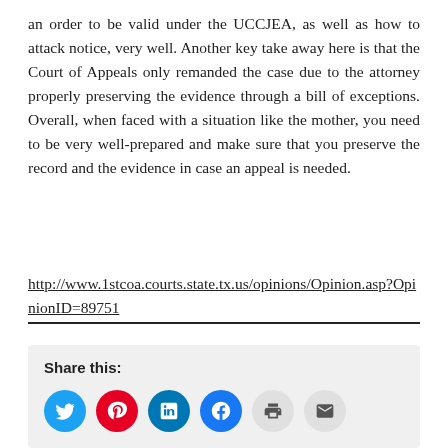an order to be valid under the UCCJEA, as well as how to attack notice, very well. Another key take away here is that the Court of Appeals only remanded the case due to the attorney properly preserving the evidence through a bill of exceptions. Overall, when faced with a situation like the mother, you need to be very well-prepared and make sure that you preserve the record and the evidence in case an appeal is needed.
http://www.1stcoa.courts.state.tx.us/opinions/Opinion.asp?OpinionID=89751
Share this: